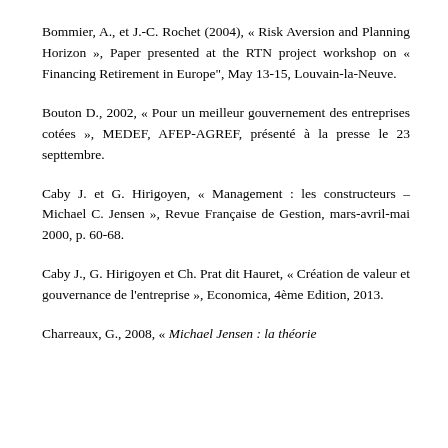Bommier, A., et J.-C. Rochet (2004), « Risk Aversion and Planning Horizon », Paper presented at the RTN project workshop on « Financing Retirement in Europe", May 13-15, Louvain-la-Neuve.
Bouton D., 2002, « Pour un meilleur gouvernement des entreprises cotées », MEDEF, AFEP-AGREF, présenté à la presse le 23 septtembre.
Caby J. et G. Hirigoyen, « Management : les constructeurs – Michael C. Jensen », Revue Française de Gestion, mars-avril-mai 2000, p. 60-68.
Caby J., G. Hirigoyen et Ch. Prat dit Hauret, « Création de valeur et gouvernance de l'entreprise », Economica, 4ème Edition, 2013.
Charreaux, G., 2008, « Michael Jensen : la théorie